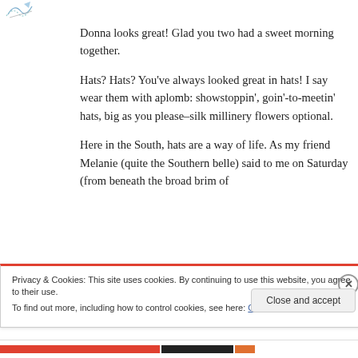[Figure (logo): Small decorative logo/icon in top left corner]
Donna looks great! Glad you two had a sweet morning together.
Hats? Hats? You’ve always looked great in hats! I say wear them with aplomb: showstoppin’, goin’-to-meetin’ hats, big as you please–silk millinery flowers optional.
Here in the South, hats are a way of life. As my friend Melanie (quite the Southern belle) said to me on Saturday (from beneath the broad brim of
Privacy & Cookies: This site uses cookies. By continuing to use this website, you agree to their use.
To find out more, including how to control cookies, see here: Cookie Policy
Close and accept